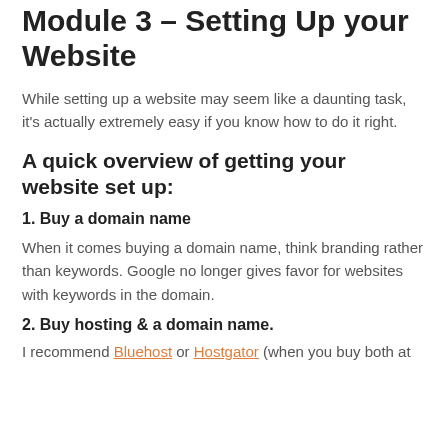Module 3 – Setting Up your Website
While setting up a website may seem like a daunting task, it's actually extremely easy if you know how to do it right.
A quick overview of getting your website set up:
1. Buy a domain name
When it comes buying a domain name, think branding rather than keywords. Google no longer gives favor for websites with keywords in the domain.
2. Buy hosting & a domain name.
I recommend Bluehost or Hostgator (when you buy both at